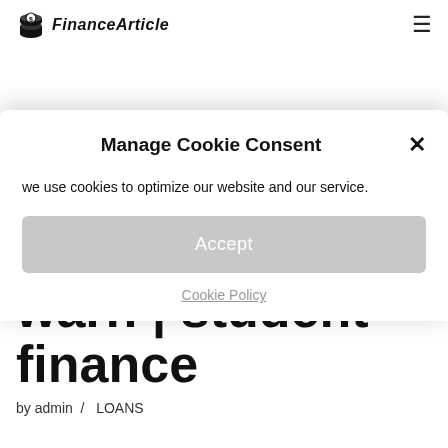FinanceArticle
Manage Cookie Consent
we use cookies to optimize our website and our service.
Accept
Cookie Policy
warn | student finance
by admin  /  LOANS